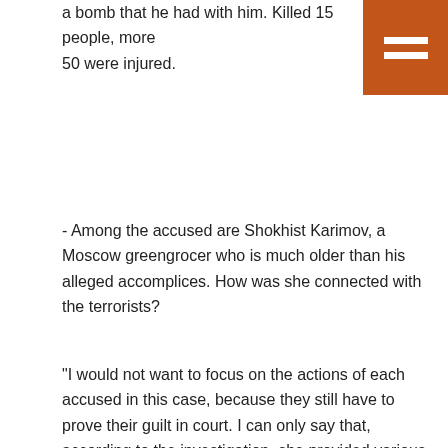a bomb that he had with him. Killed 15 people, more 50 were injured.
[Figure (other): Orange hamburger menu icon (three white horizontal bars on orange background) in top-right corner]
- Among the accused are Shokhist Karimov, a Moscow greengrocer who is much older than his alleged accomplices. How was she connected with the terrorists?
"I would not want to focus on the actions of each accused in this case, because they still have to prove their guilt in court. I can only say that, according to the investigation, she provided various services to other participants, in particular, activated SIM cards, provided them with telephones. This was done to complicate the work of special services to prevent a terrorist attack.